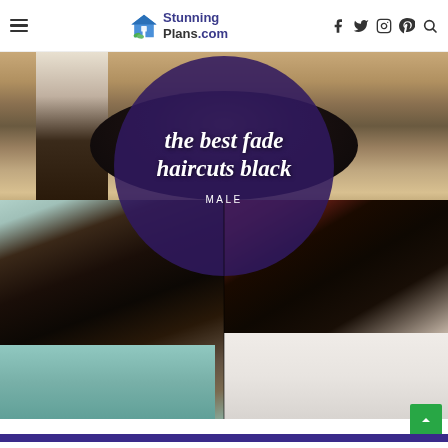StunningPlans.com navigation header with hamburger menu, logo, and social icons (Facebook, Twitter, Instagram, Pinterest, Search)
[Figure (photo): Collage of men with fade haircuts. Top portion shows close-up of a man's neck/hair at a barbershop. Bottom left shows a smiling Black man with a fade haircut and earring in a barber cape. Bottom right shows a close-up profile of a Black man with a skin fade and earring. A large purple/dark violet circle overlay in the center contains the italic text 'the best fade haircuts black' and 'MALE' in white.]